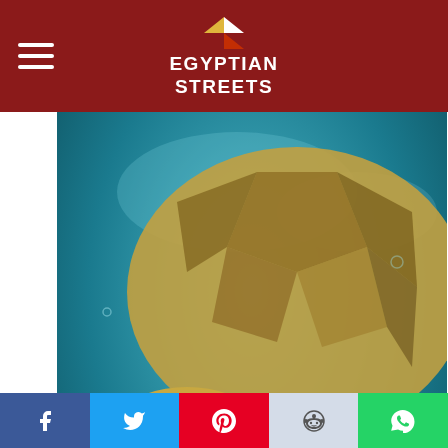Egyptian Streets
[Figure (photo): Close-up of a sea turtle underwater holding a plastic bottle cap near its mouth]
Save The Planet By Slightly Changing The Way You Do Laundry
EarthBreeze
[Figure (photo): Partial second article image visible at bottom]
Social share bar: Facebook, Twitter, Pinterest, Reddit, WhatsApp